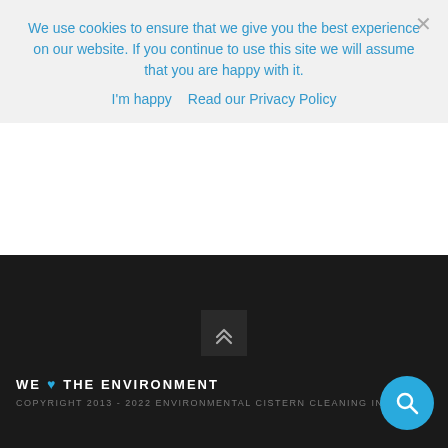We use cookies to ensure that we give you the best experience on our website. If you continue to use this site we will assume that you are happy with it.
I'm happy   Read our Privacy Policy
[Figure (screenshot): Dark gray form section with a yellow 'SUBMIT FORM' button]
[Figure (infographic): Scroll-to-top arrow button on dark background]
WE ♥ THE ENVIRONMENT COPYRIGHT 2013 - 2022 ENVIRONMENTAL CISTERN CLEANING IN...